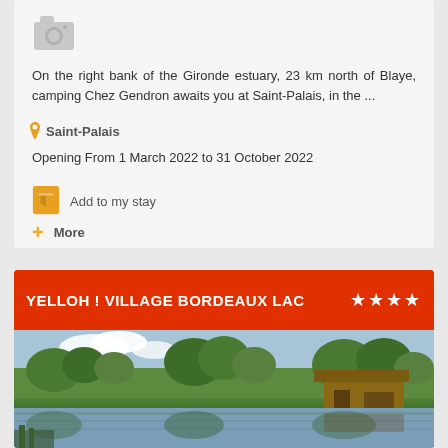[Figure (photo): Camera icon placeholder for camping listing photo]
On the right bank of the Gironde estuary, 23 km north of Blaye, camping Chez Gendron awaits you at Saint-Palais, in the ...
Saint-Palais
Opening From 1 March 2022 to 31 October 2022
Add to my stay
More
YELLOH ! VILLAGE BORDEAUX LAC
[Figure (photo): Lakeside camping resort photo with wooden cabins reflecting in the water, surrounded by green trees and blue sky]